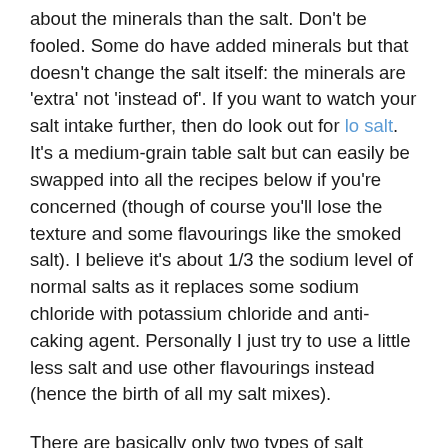about the minerals than the salt. Don't be fooled. Some do have added minerals but that doesn't change the salt itself: the minerals are 'extra' not 'instead of'. If you want to watch your salt intake further, then do look out for lo salt. It's a medium-grain table salt but can easily be swapped into all the recipes below if you're concerned (though of course you'll lose the texture and some flavourings like the smoked salt). I believe it's about 1/3 the sodium level of normal salts as it replaces some sodium chloride with potassium chloride and anti-caking agent. Personally I just try to use a little less salt and use other flavourings instead (hence the birth of all my salt mixes).
There are basically only two types of salt